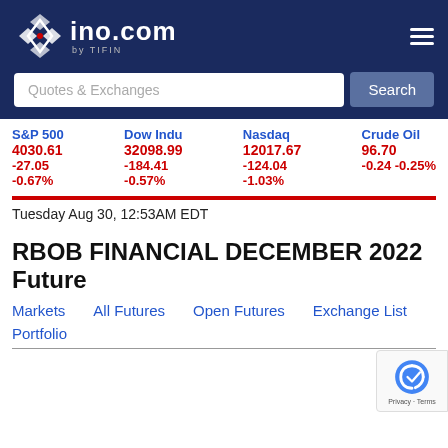[Figure (logo): ino.com by TIFIN logo with diamond/cross icon on dark navy background]
Quotes & Exchanges
Search
| S&P 500 | Dow Indu | Nasdaq | Crude Oil |
| --- | --- | --- | --- |
| 4030.61 | 32098.99 | 12017.67 | 96.70 |
| -27.05 | -184.41 | -124.04 | -0.24 -0.25% |
| -0.67% | -0.57% | -1.03% |  |
Tuesday Aug 30, 12:53AM EDT
RBOB FINANCIAL DECEMBER 2022 Future
Markets
All Futures
Open Futures
Exchange List
Portfolio